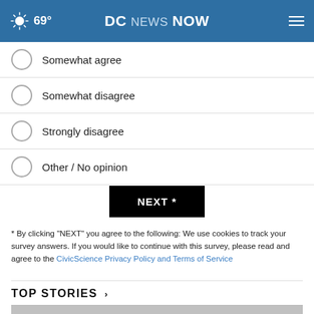69° DC NEWS NOW
Somewhat agree
Somewhat disagree
Strongly disagree
Other / No opinion
NEXT *
* By clicking "NEXT" you agree to the following: We use cookies to track your survey answers. If you would like to continue with this survey, please read and agree to the CivicScience Privacy Policy and Terms of Service
TOP STORIES ›
[Figure (screenshot): Partially visible video thumbnail and advertisement banner for Fahrney Keedy featuring 'SAFE ENVIRONMENT' and 'LEARN MORE' button]